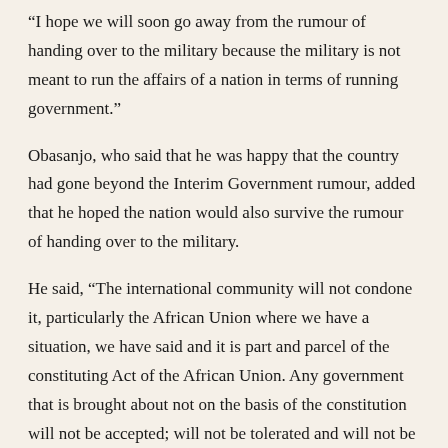“I hope we will soon go away from the rumour of handing over to the military because the military is not meant to run the affairs of a nation in terms of running government.”
Obasanjo, who said that he was happy that the country had gone beyond the Interim Government rumour, added that he hoped the nation would also survive the rumour of handing over to the military.
He said, “The international community will not condone it, particularly the African Union where we have a situation, we have said and it is part and parcel of the constituting Act of the African Union. Any government that is brought about not on the basis of the constitution will not be accepted; will not be tolerated and will not be a member of the AU until that government is dismantled.
“It shouldn’t be. We are the largest country in Africa; we should be a model, setting examples, we shouldn’t be drawing Africa